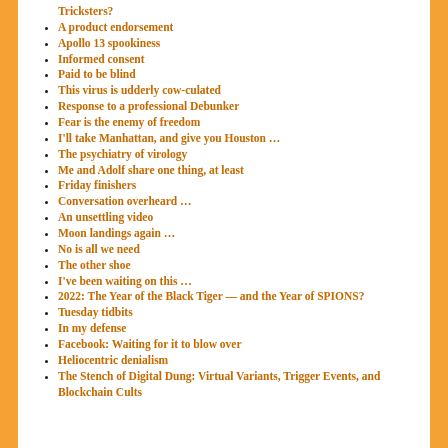Tricksters?
A product endorsement
Apollo 13 spookiness
Informed consent
Paid to be blind
This virus is udderly cow-culated
Response to a professional Debunker
Fear is the enemy of freedom
I'll take Manhattan, and give you Houston …
The psychiatry of virology
Me and Adolf share one thing, at least
Friday finishers
Conversation overheard …
An unsettling video
Moon landings again …
No is all we need
The other shoe
I've been waiting on this …
2022: The Year of the Black Tiger — and the Year of SPIONS?
Tuesday tidbits
In my defense
Facebook: Waiting for it to blow over
Heliocentric denialism
The Stench of Digital Dung: Virtual Variants, Trigger Events, and Blockchain Cults